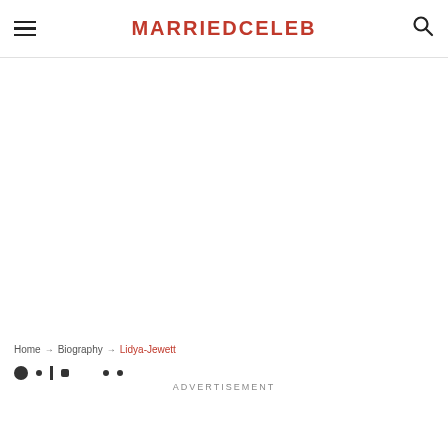MARRIEDCELEB
Home → Biography → Lidya-Jewett
ADVERTISEMENT